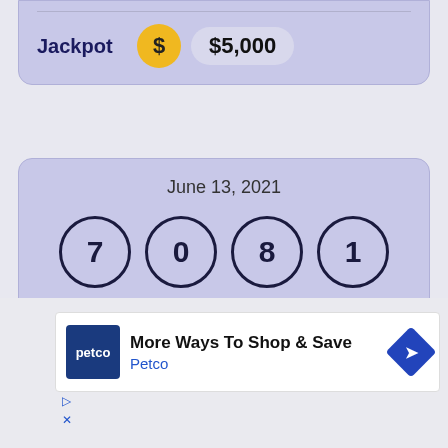Jackpot  $5,000
June 13, 2021
7 0 8 1
Jackpot  $5,000
[Figure (screenshot): Petco advertisement: More Ways To Shop & Save]
More Ways To Shop & Save
Petco